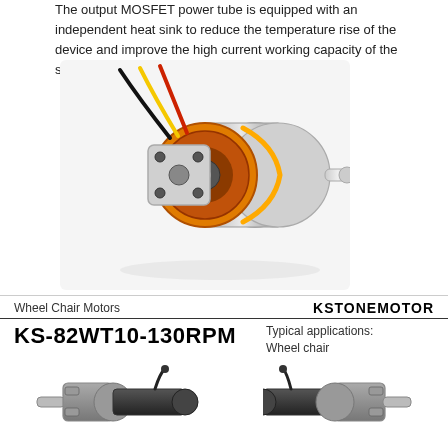The output MOSFET power tube is equipped with an independent heat sink to reduce the temperature rise of the device and improve the high current working capacity of the system.
[Figure (photo): Photo of a brushless outrunner motor with orange accents, a mounting plate with holes, and colored wires (black, yellow, red) extending from the back.]
Wheel Chair Motors
KSTONEMOTOR
KS-82WT10-130RPM
Typical applications:
Wheel chair
[Figure (photo): Photo of a left shaft wheelchair motor — a cylindrical black motor body with a silver gearbox and a shaft protruding to the left.]
Left shaft
[Figure (photo): Photo of a right shaft wheelchair motor — a cylindrical black motor body with a silver gearbox and a shaft protruding to the right.]
Right shaft
Dimensions(weight: 5 kg)